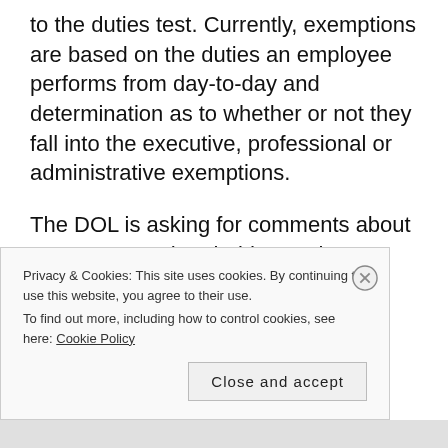to the duties test. Currently, exemptions are based on the duties an employee performs from day-to-day and determination as to whether or not they fall into the executive, professional or administrative exemptions.
The DOL is asking for comments about a percentage threshold test when evaluating whether the employee is performing duties that are actually exempt or non-exempt.
While “full-time” for health insurance regulations is
Privacy & Cookies: This site uses cookies. By continuing to use this website, you agree to their use.
To find out more, including how to control cookies, see here: Cookie Policy